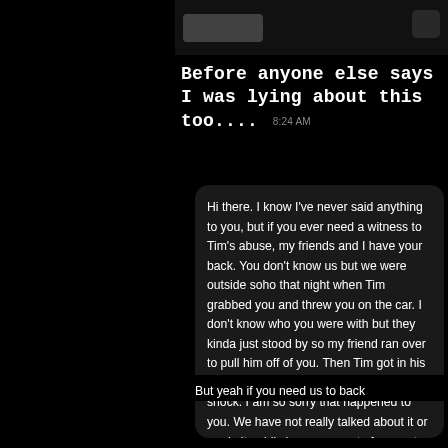[Figure (screenshot): Social media story screenshot on black background showing a message post and an inner chat message bubble]
Before anyone else says I was lying about this too.... 8:24 AM
Hi there. I know I've never said anything to you, but if you ever need a witness to Tim's abuse, my friends and I have your back. You don't know us but we were outside soho that night when Tim grabbed you and threw you on the car. I don't know who you were with but they kinda just stood by so my friend ran over to pull him off of you. Then Tim got in his car and drove off. You were in such shock. I am so sorry that happened to you. We have not really talked about it or made it public in anyway out of respect for you but I just your post about his abuse and want you to know we can vouch for you 200%.
But yeah if you need us to back